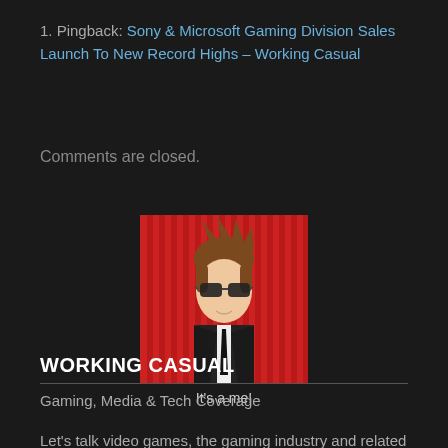1. Pingback: Sony & Microsoft Gaming Division Sales Launch To New Record Highs – Working Casual
Comments are closed.
[Figure (illustration): Cartoon avatar of a young man with spiky brown hair, wearing dark sunglasses and a black suit with a white shirt and black tie, against a red striped background.]
It's a me!
WORKING CASUAL
Gaming, Media & Tech Coverage
Let's talk video games, the gaming industry and related